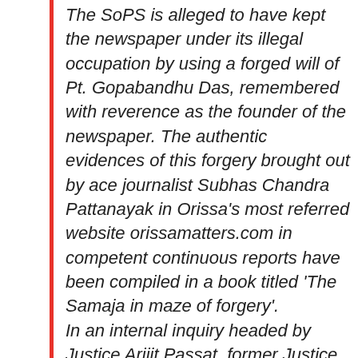The SoPS is alleged to have kept the newspaper under its illegal occupation by using a forged will of Pt. Gopabandhu Das, remembered with reverence as the founder of the newspaper. The authentic evidences of this forgery brought out by ace journalist Subhas Chandra Pattanayak in Orissa's most referred website orissamatters.com in competent continuous reports have been compiled in a book titled 'The Samaja in maze of forgery'.
In an internal inquiry headed by Justice Arijit Passat, former Justice of the Supreme Court of India, massive